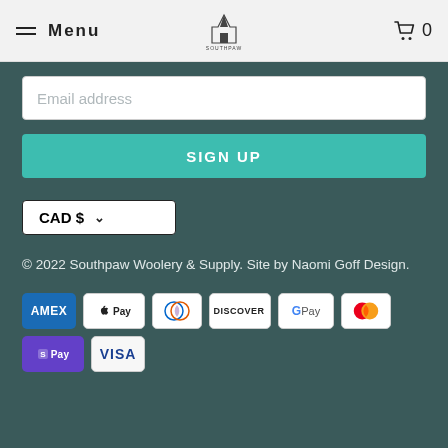Menu | Southpaw (logo) | Cart 0
Email address
SIGN UP
CAD $
© 2022 Southpaw Woolery & Supply. Site by Naomi Goff Design.
[Figure (logo): Payment method icons: AMEX, Apple Pay, Diners Club, Discover, Google Pay, Mastercard, Shopify Pay, Visa]